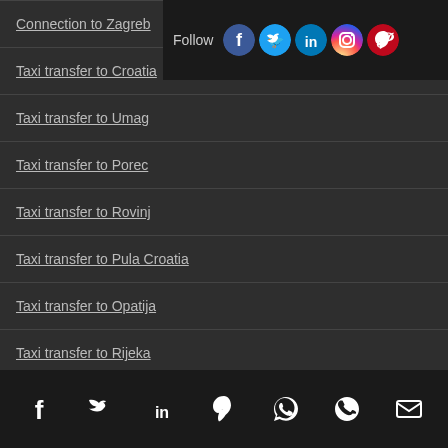Connection to Zagreb
Taxi transfer to Croatia
Taxi transfer to Umag
Taxi transfer to Porec
Taxi transfer to Rovinj
Taxi transfer to Pula Croatia
Taxi transfer to Opatija
Taxi transfer to Rijeka
Taxi transfer to Zadar
Taxi transfer to Zrce
Taxi transfer to Plitvice lakes
Taxi transfer Ljubljana to Split
Social media icons: Facebook, Twitter, LinkedIn, Pinterest, WhatsApp, Phone, Email